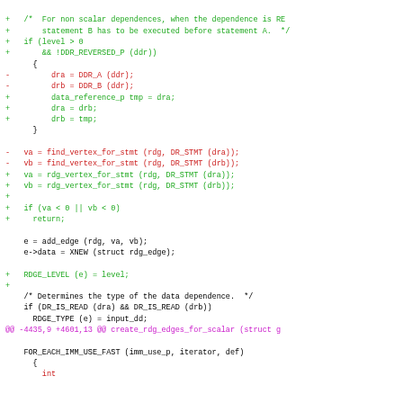Code diff showing changes to RDG edge creation functions including find_vertex_for_stmt to rdg_vertex_for_stmt refactoring and related additions